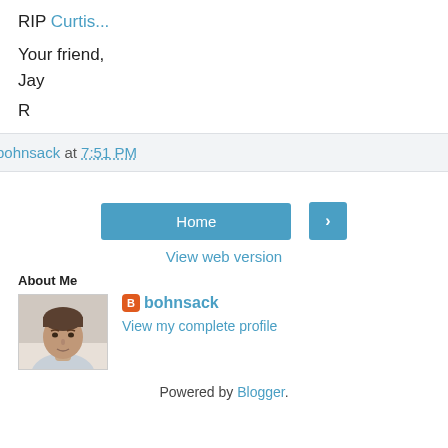RIP Curtis...
Your friend,
Jay
R
bohnsack at 7:51 PM
Home
>
View web version
About Me
[Figure (photo): Profile photo of a man (bohnsack)]
bohnsack
View my complete profile
Powered by Blogger.